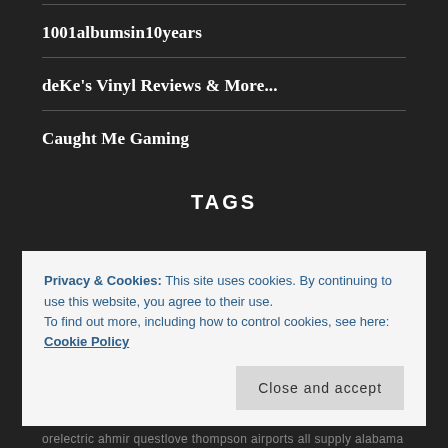1001albumsin10years
deKe's Vinyl Reviews & More...
Caught Me Gaming
TAGS
Privacy & Cookies: This site uses cookies. By continuing to use this website, you agree to their use.
To find out more, including how to control cookies, see here: Cookie Policy
Close and accept
orelectric ahmir questlove thompson airports all supply alabama